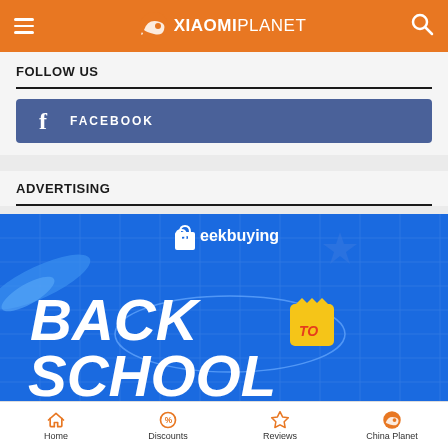XiaomiPlanet
FOLLOW US
FACEBOOK
ADVERTISING
[Figure (illustration): Geekbuying Back to School promotional banner advertisement with blue background, Geekbuying logo, and large white bold italic text reading BACK TO SCHOOL]
Home  Discounts  Reviews  China Planet